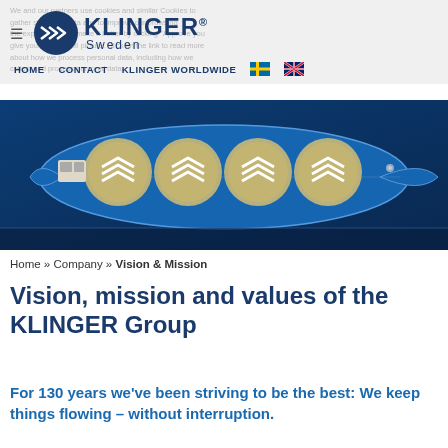KLINGER Sweden — HOME | CONTACT | KLINGER WORLDWIDE
[Figure (photo): Aerial view of a cargo ship with circular tank markings, rendered in blue and beige tones, showing the KLINGER logo chevron patterns on the tanks.]
Home » Company » Vision & Mission
Vision, mission and values of the KLINGER Group
For 130 years we've been striving to be the best: We keep things flowing – without interruption.